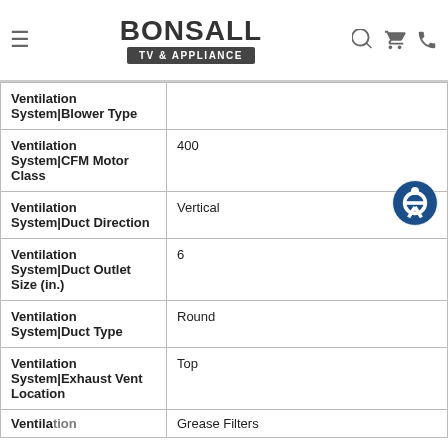Bonsall TV & Appliance
| Attribute | Value |
| --- | --- |
| Ventilation System|Blower Type |  |
| Ventilation System|CFM Motor Class | 400 |
| Ventilation System|Duct Direction | Vertical |
| Ventilation System|Duct Outlet Size (in.) | 6 |
| Ventilation System|Duct Type | Round |
| Ventilation System|Exhaust Vent Location | Top |
| Ventilation System|... | Grease Filters |